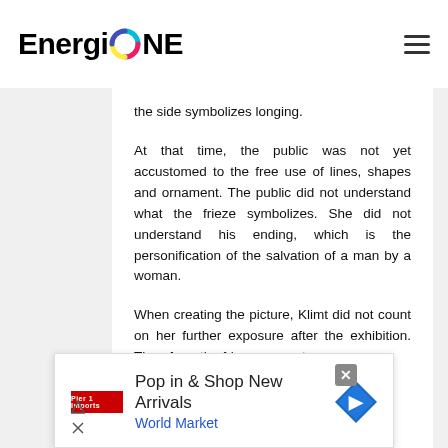EnergiONE
the side symbolizes longing.
At that time, the public was not yet accustomed to the free use of lines, shapes and ornament. The public did not understand what the frieze symbolizes. She did not understand his ending, which is the personification of the salvation of a man by a woman.
When creating the picture, Klimt did not count on her further exposure after the exhibition. Therefore, the frieze was not
[Figure (screenshot): Advertisement banner: Pop in & Shop New Arrivals - World Market, with navigation arrow icon and close button]